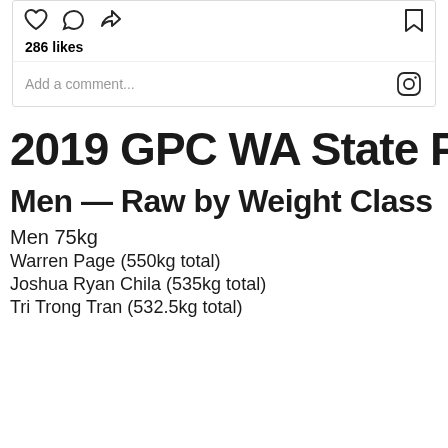[Figure (screenshot): Instagram post action bar with heart, comment, share icons on the left and bookmark icon on the right]
286 likes
Add a comment...
2019 GPC WA State Powerlifting ChampionshipsflResu
Men — Raw by Weight Class
Men 75kg
Warren Page (550kg total)
Joshua Ryan Chila (535kg total)
Tri Trong Tran (532.5kg total)